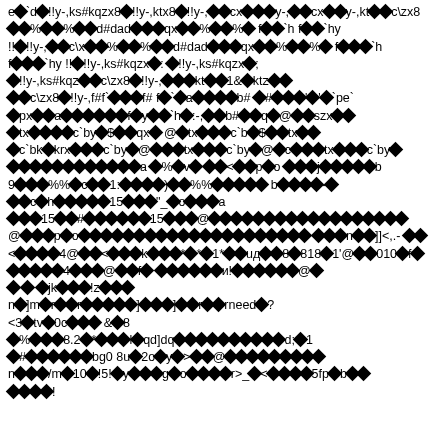Garbled/encoded text content with diamond replacement characters throughout the page. The text appears to be corrupted or encoded data containing sequences like: e◆`d◆!!y-,ks#kqzx8◆!!y-,ktx8◆!!y-,◆◆cx◆◆◆y-,◆◆cx◆◆y-,kt◆◆c\zx8 and many similar patterns with diamond symbols replacing unrenderable characters.